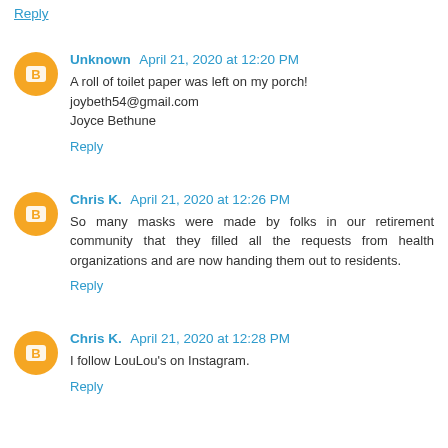Reply (partial, top of page)
Unknown April 21, 2020 at 12:20 PM
A roll of toilet paper was left on my porch!
joybeth54@gmail.com
Joyce Bethune
Reply
Chris K. April 21, 2020 at 12:26 PM
So many masks were made by folks in our retirement community that they filled all the requests from health organizations and are now handing them out to residents.
Reply
Chris K. April 21, 2020 at 12:28 PM
I follow LouLou's on Instagram.
Reply